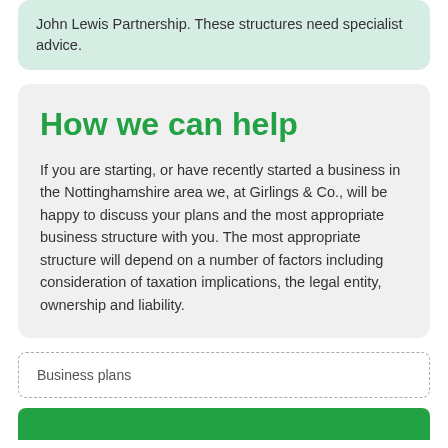John Lewis Partnership. These structures need specialist advice.
How we can help
If you are starting, or have recently started a business in the Nottinghamshire area we, at Girlings & Co., will be happy to discuss your plans and the most appropriate business structure with you. The most appropriate structure will depend on a number of factors including consideration of taxation implications, the legal entity, ownership and liability.
Business plans